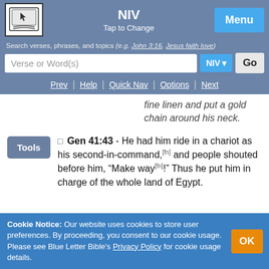NIV | Tap to Change | Menu
Search verses, phrases, and topics (e.g. John 3:16, Jesus faith love)
Verse or Word(s) | NIV | Go
Prev | Help | Quick Nav | Options | Next
fine linen and put a gold chain around his neck.
Gen 41:43 - He had him ride in a chariot as his second-in-command,[fn] and people shouted before him, “Make way[fn]!” Thus he put him in charge of the whole land of Egypt.
Cookie Notice: Our website uses cookies to store user preferences. By proceeding, you consent to our cookie usage. Please see Blue Letter Bible's Privacy Policy for cookie usage details.